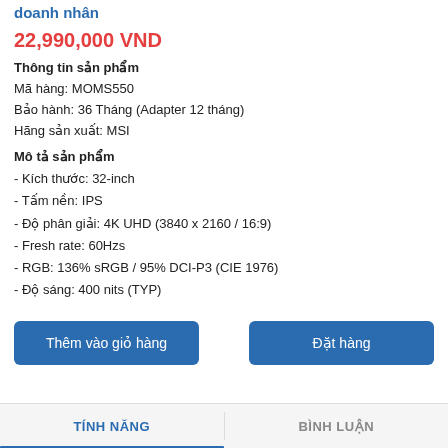doanh nhân
22,990,000 VND
Thông tin sản phẩm
Mã hàng: MOMS550
Bảo hành: 36 Tháng (Adapter 12 tháng)
Hãng sản xuất: MSI
Mô tả sản phẩm
- Kích thước: 32-inch
- Tấm nền: IPS
- Độ phân giải: 4K UHD (3840 x 2160 / 16:9)
- Fresh rate: 60Hzs
- RGB: 136% sRGB / 95% DCI-P3 (CIE 1976)
- Độ sáng: 400 nits (TYP)
Thêm vào giỏ hàng | Đặt hàng
TÍNH NĂNG | BÌNH LUẬN